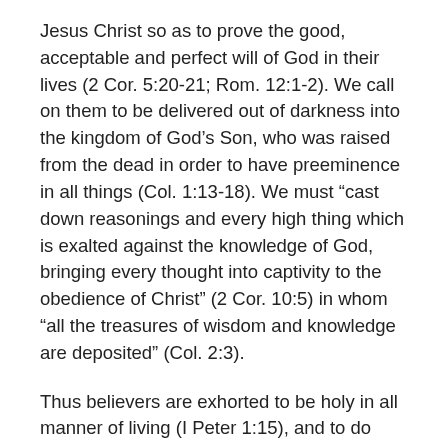Jesus Christ so as to prove the good, acceptable and perfect will of God in their lives (2 Cor. 5:20-21; Rom. 12:1-2). We call on them to be delivered out of darkness into the kingdom of God’s Son, who was raised from the dead in order to have preeminence in all things (Col. 1:13-18). We must “cast down reasonings and every high thing which is exalted against the knowledge of God, bringing every thought into captivity to the obedience of Christ” (2 Cor. 10:5) in whom “all the treasures of wisdom and knowledge are deposited” (Col. 2:3).
Thus believers are exhorted to be holy in all manner of living (I Peter 1:15), and to do whatever they do for the glory of God (I Cor. 10:31). To do so will require adherence to the written word of God, since our faith does not stand in the wisdom of men but rather in the work and teaching of God’s Holy Spirit (I Cor. 2:5, 13; cf. I Thos. 2:13; Num.